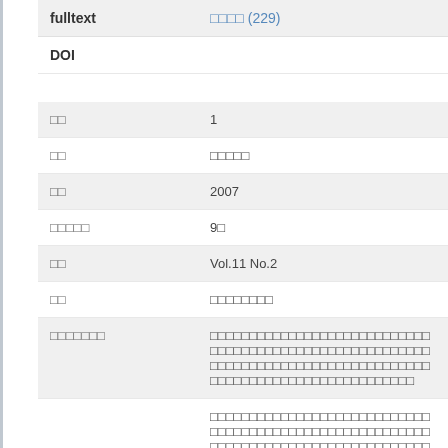| key | value |
| --- | --- |
| fulltext | □□□□ (229) |
| DOI |  |
| □□ | 1 |
| □□ | □□□□□ |
| □□ | 2007 |
| □□□□□ | 9□ |
| □□ | Vol.11 No.2 |
| □□ | □□□□□□□□ |
| □□□□□□□ | □□□□□□□□□□□□□□□□□□□□□□□□□□□□□□□□□□□□□□□□□□□□□□□□□□ |
|  | □□□□□□□□□□□□□□□□□□□□□□□□□□□□□□□□□□□□□□□□□□□□□□□□□□ |